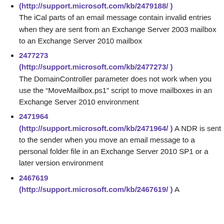(http://support.microsoft.com/kb/2479188/ ) The iCal parts of an email message contain invalid entries when they are sent from an Exchange Server 2003 mailbox to an Exchange Server 2010 mailbox
2477273 (http://support.microsoft.com/kb/2477273/ ) The DomainController parameter does not work when you use the “MoveMailbox.ps1” script to move mailboxes in an Exchange Server 2010 environment
2471964 (http://support.microsoft.com/kb/2471964/ ) A NDR is sent to the sender when you move an email message to a personal folder file in an Exchange Server 2010 SP1 or a later version environment
2467619 (http://support.microsoft.com/kb/2467619/ ) A